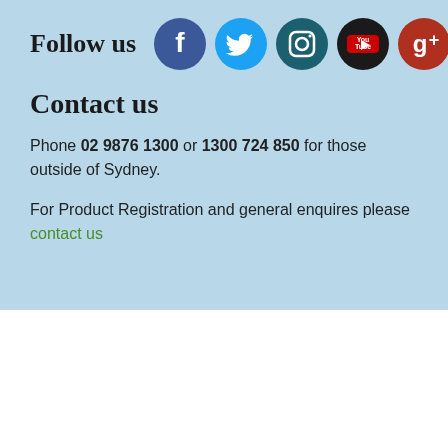Follow us
[Figure (logo): Social media icons: Facebook, Twitter, Instagram, YouTube, Google+]
Contact us
Phone 02 9876 1300 or 1300 724 850 for those outside of Sydney.
For Product Registration and general enquires please contact us
We work with
[Figure (logo): DAA Dietitians Association of Australia logo]
[Figure (logo): NSW Health logo]
[Figure (logo): NSW Education & Communities logo]